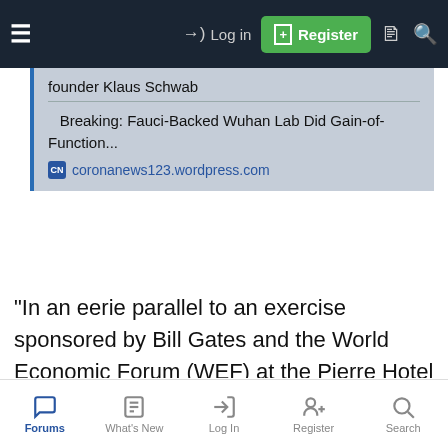≡  →) Log in  [+] Register  □  🔍
founder Klaus Schwab
Breaking: Fauci-Backed Wuhan Lab Did Gain-of-Function...
coronanews123.wordpress.com
"In an eerie parallel to an exercise sponsored by Bill Gates and the World Economic Forum (WEF) at the Pierre Hotel in New York on October 18, 2019, nearly two months before the first reports of an unknown respiratory illness emerged from Wuhan, China, another exercise has been unearthed, held in November of
Forums  What's New  Log In  Register  Search